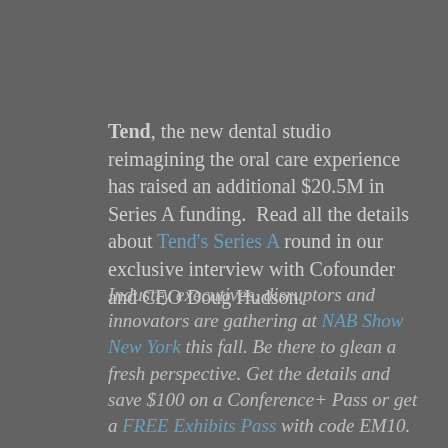Tend, the new dental studio reimagining the oral care experience has raised an additional $20.5M in Series A funding. Read all the details about Tend's Series A round in our exclusive interview with Cofounder and CEO Doug Hudson.
Industry executives, disruptors and innovators are gathering at NAB Show New York this fall. Be there to glean a fresh perspective. Get the details and save $100 on a Conference+ Pass or get a FREE Exhibits Pass with code EM10.